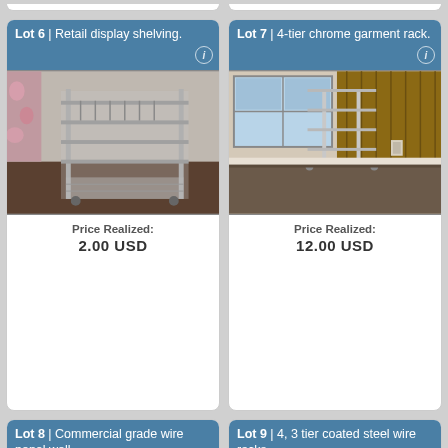[Figure (photo): Lot 6 card top stub (previous card bottom)]
[Figure (photo): Lot 7 card top stub (previous card bottom)]
Lot 6 | Retail display shelving.
[Figure (photo): Photo of retail display shelving unit with chrome wire shelves]
Price Realized: 2.00 USD
Lot 7 | 4-tier chrome garment rack.
[Figure (photo): Photo of 4-tier chrome garment rack in a room with wood panel wall]
Price Realized: 12.00 USD
Lot 8 | Commercial grade wire panel wall
[Figure (photo): Partial photo of commercial grade wire panel wall]
Lot 9 | 4, 3 tier coated steel wire racks.
[Figure (photo): Partial photo of coated steel wire racks]